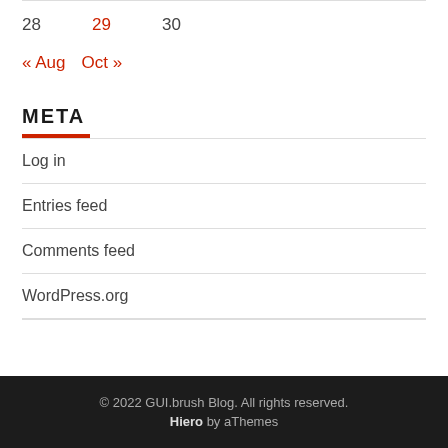| 28 | 29 | 30 |
« Aug   Oct »
META
Log in
Entries feed
Comments feed
WordPress.org
© 2022 GUI.brush Blog. All rights reserved.
Hiero by aThemes